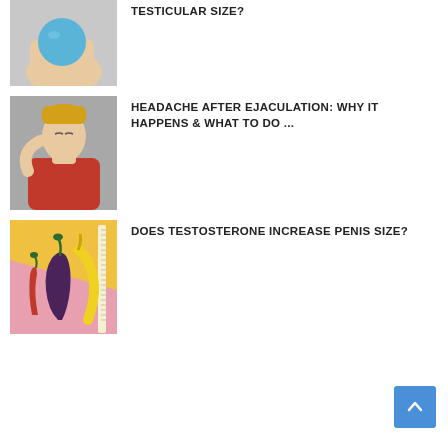[Figure (photo): Hand squeezing a blue stress ball, partially visible at top of page]
TESTICULAR SIZE?
[Figure (photo): Blonde man in red shirt holding his hand to his forehead, appearing to have a headache]
HEADACHE AFTER EJACULATION: WHY IT HAPPENS & WHAT TO DO ...
[Figure (photo): Pink and yellow split background with a red chili pepper, eggplant, and banana next to a measuring tape]
DOES TESTOSTERONE INCREASE PENIS SIZE?